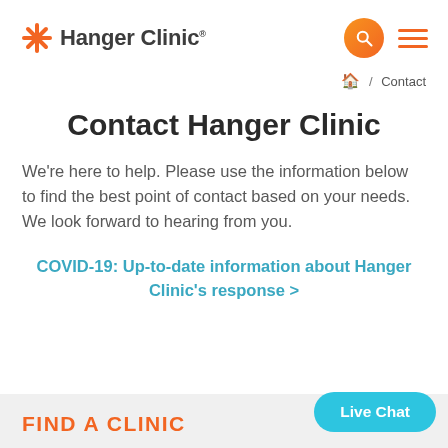Hanger Clinic [logo with search and menu icons]
🏠 / Contact
Contact Hanger Clinic
We're here to help. Please use the information below to find the best point of contact based on your needs. We look forward to hearing from you.
COVID-19: Up-to-date information about Hanger Clinic's response >
FIND A CLINIC
Live Chat